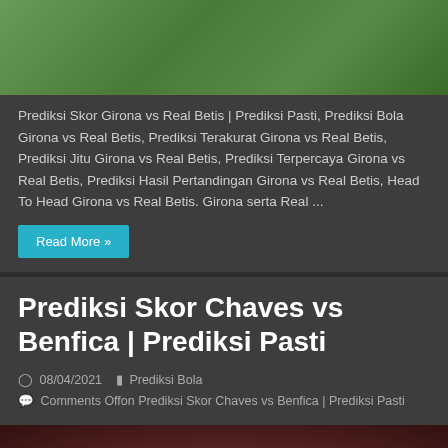[Figure (photo): Soccer players on green grass field, partial view showing legs and a football]
Prediksi Skor Girona vs Real Betis | Prediksi Pasti, Prediksi Bola Girona vs Real Betis, Prediksi Terakurat Girona vs Real Betis, Prediksi Jitu Girona vs Real Betis, Prediksi Terpercaya Girona vs Real Betis, Prediksi Hasil Pertandingan Girona vs Real Betis, Head To Head Girona vs Real Betis. Girona serta Real ...
Read More »
Prediksi Skor Chaves vs Benfica | Prediksi Pasti
08/04/2021   Prediksi Bola
Comments Offon Prediksi Skor Chaves vs Benfica | Prediksi Pasti
[Figure (photo): Soccer match scene with players and a football, reddish crowd background]